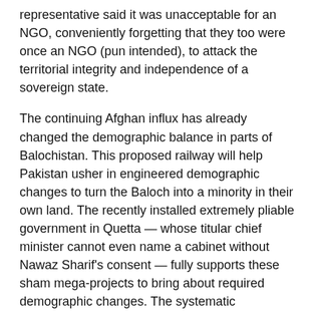representative said it was unacceptable for an NGO, conveniently forgetting that they too were once an NGO (pun intended), to attack the territorial integrity and independence of a sovereign state.
The continuing Afghan influx has already changed the demographic balance in parts of Balochistan. This proposed railway will help Pakistan usher in engineered demographic changes to turn the Baloch into a minority in their own land. The recently installed extremely pliable government in Quetta — whose titular chief minister cannot even name a cabinet without Nawaz Sharif's consent — fully supports these sham mega-projects to bring about required demographic changes. The systematic engineered demographic changes combined with the brutal killings of Baloch activists and ordinary people suspected of sympathies with the Sarmachars (insurgents) are the two-pronged attacks that the Pakistani establishment has unleashed on the Baloch people. The demography issue is a life and death issue as the Baloch people's destiny hinges on it and